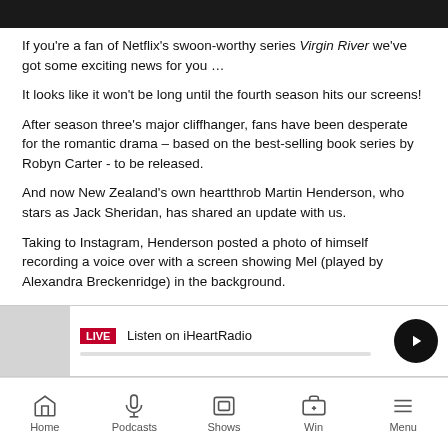[Figure (photo): Top portion of a photo (dark/black image crop)]
If you're a fan of Netflix's swoon-worthy series Virgin River we've got some exciting news for you …
It looks like it won't be long until the fourth season hits our screens!
After season three's major cliffhanger, fans have been desperate for the romantic drama – based on the best-selling book series by Robyn Carter - to be released.
And now New Zealand's own heartthrob Martin Henderson, who stars as Jack Sheridan, has shared an update with us.
Taking to Instagram, Henderson posted a photo of himself recording a voice over with a screen showing Mel (played by Alexandra Breckenridge) in the background.
[Figure (screenshot): iHeartRadio live player bar with LIVE badge, Listen on iHeartRadio label, progress bar, and play button]
Home   Podcasts   Shows   Win   Menu